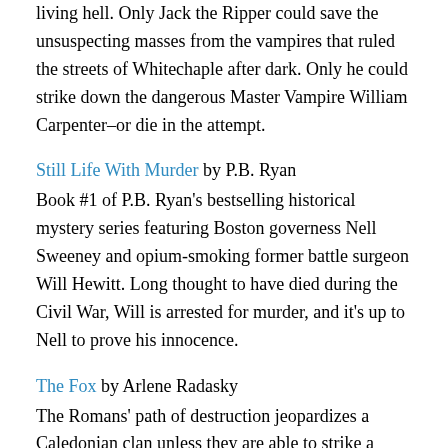living hell. Only Jack the Ripper could save the unsuspecting masses from the vampires that ruled the streets of Whitechaple after dark. Only he could strike down the dangerous Master Vampire William Carpenter–or die in the attempt.
Still Life With Murder by P.B. Ryan
Book #1 of P.B. Ryan's bestselling historical mystery series featuring Boston governess Nell Sweeney and opium-smoking former battle surgeon Will Hewitt. Long thought to have died during the Civil War, Will is arrested for murder, and it's up to Nell to prove his innocence.
The Fox by Arlene Radasky
The Romans' path of destruction jeopardizes a Caledonian clan unless they are able to strike a bargain with the Gods, which ultimately means a human sacrifice. Jahna is a member of this first contact tribe. She bears the secret...